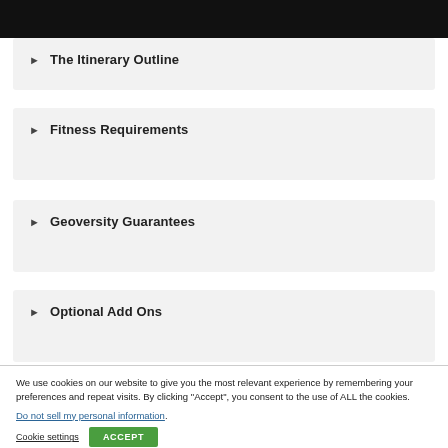▶ The Itinerary Outline
▶ Fitness Requirements
▶ Geoversity Guarantees
▶ Optional Add Ons
We use cookies on our website to give you the most relevant experience by remembering your preferences and repeat visits. By clicking "Accept", you consent to the use of ALL the cookies.
Do not sell my personal information.
Cookie settings   ACCEPT